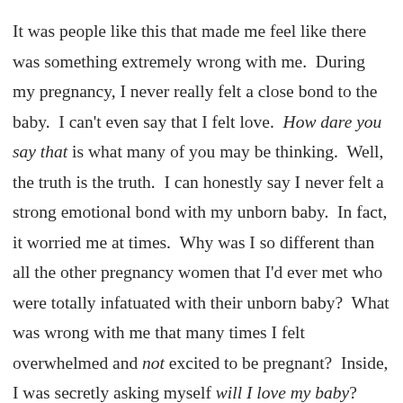It was people like this that made me feel like there was something extremely wrong with me. During my pregnancy, I never really felt a close bond to the baby. I can't even say that I felt love. How dare you say that is what many of you may be thinking. Well, the truth is the truth. I can honestly say I never felt a strong emotional bond with my unborn baby. In fact, it worried me at times. Why was I so different than all the other pregnancy women that I'd ever met who were totally infatuated with their unborn baby? What was wrong with me that many times I felt overwhelmed and not excited to be pregnant? Inside, I was secretly asking myself will I love my baby?